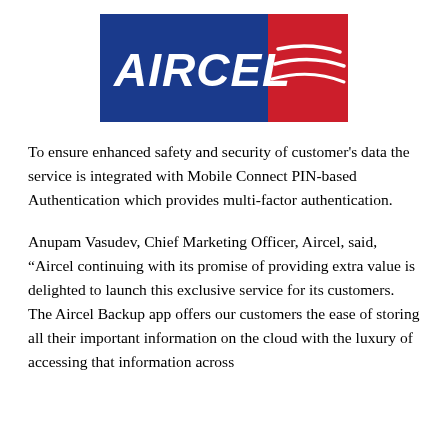[Figure (logo): Aircel logo: blue rectangle with white italic AIRCEL text on the left, red rectangle with white curved swoosh lines on the right]
To ensure enhanced safety and security of customer's data the service is integrated with Mobile Connect PIN-based Authentication which provides multi-factor authentication.
Anupam Vasudev, Chief Marketing Officer, Aircel, said, “Aircel continuing with its promise of providing extra value is delighted to launch this exclusive service for its customers. The Aircel Backup app offers our customers the ease of storing all their important information on the cloud with the luxury of accessing that information across